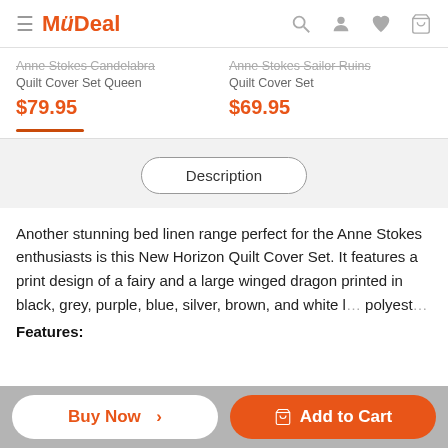MyDeal (navigation header with search, user, wishlist, cart icons)
Anne Stokes Candelabra Quilt Cover Set Queen
$79.95
Anne Stokes Sailor Ruins Quilt Cover Set
$69.95
Description
Another stunning bed linen range perfect for the Anne Stokes enthusiasts is this New Horizon Quilt Cover Set. It features a print design of a fairy and a large winged dragon printed in black, grey, purple, blue, silver, brown, and white l... polyest...
Features: